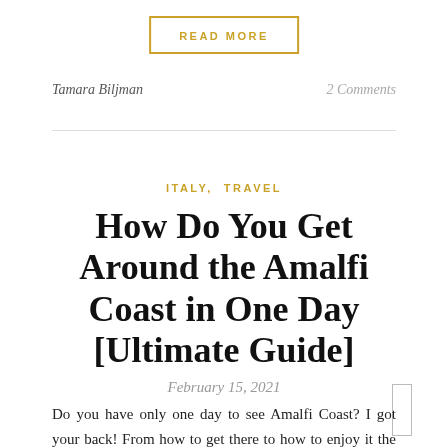READ MORE
Tamara Biljman
2 Comments
ITALY, TRAVEL
How Do You Get Around the Amalfi Coast in One Day [Ultimate Guide]
February 15, 2021
Do you have only one day to see Amalfi Coast? I got your back! From how to get there to how to enjoy it the Italian way - this ultimate guide covers it all.